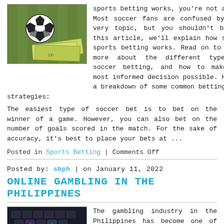[Figure (photo): Soccer ball on grass with money/banknotes]
sports betting works, you're not alone. Most soccer fans are confused by this very topic, but you shouldn't be. In this article, we'll explain how soccer sports betting works. Read on to learn more about the different types of soccer betting, and how to make the most informed decision possible. Here's a breakdown of some common betting strategies:
The easiest type of soccer bet is to bet on the winner of a game. However, you can also bet on the number of goals scored in the match. For the sake of accuracy, it's best to place your bets at ...
Posted in Sports Betting | Comments Off
Posted by: sbph | on January 11, 2022
ONLINE GAMBLING IN THE PHILIPPINES
[Figure (photo): Keyboard with gambling/casino buttons]
The gambling industry in the Philippines has become one of the main drivers of the country's economy and a